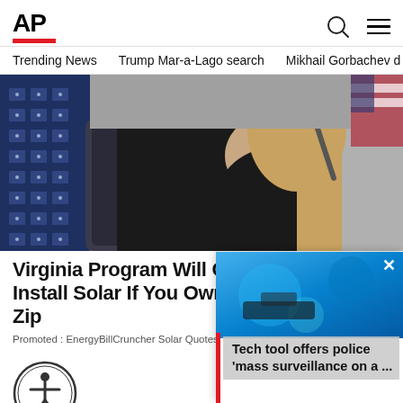AP
Trending News   Trump Mar-a-Lago search   Mikhail Gorbachev d
[Figure (photo): Woman in black dress seated at a table with microphone, solar panels visible on left background, partial US flag on right]
Virginia Program Will Cover The Cost To Install Solar If You Own A Home In These Zip...
Promoted : EnergyBillCruncher Solar Quotes
[Figure (photo): Popup ad showing blue abstract background with tech imagery. Text reads: Tech tool offers police 'mass surveillance on a ...']